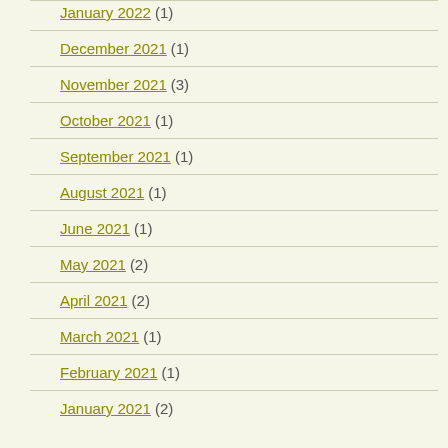January 2022 (1)
December 2021 (1)
November 2021 (3)
October 2021 (1)
September 2021 (1)
August 2021 (1)
June 2021 (1)
May 2021 (2)
April 2021 (2)
March 2021 (1)
February 2021 (1)
January 2021 (2)